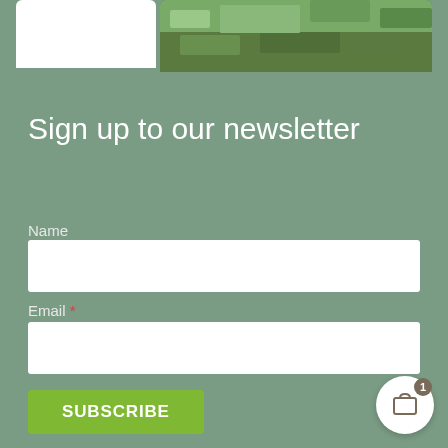[Figure (photo): Partial view of a garden/landscape photo at the top of the page, showing green terraced gardens and stone ruins]
Sign up to our newsletter
Name
Email *
SUBSCRIBE